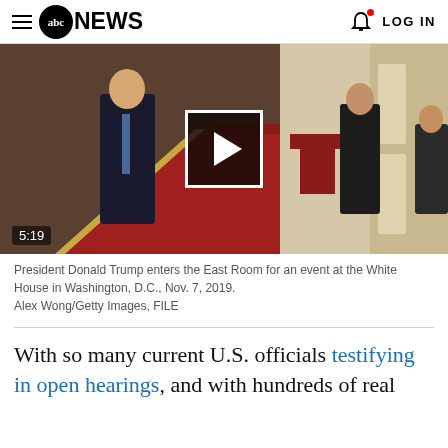abc NEWS   LOG IN
[Figure (photo): President Donald Trump walking on a red carpet in the East Room of the White House, with Secret Service agents standing nearby. A video play button overlay is shown in the center with a timestamp of 5:19.]
President Donald Trump enters the East Room for an event at the White House in Washington, D.C., Nov. 7, 2019.
Alex Wong/Getty Images, FILE
With so many current U.S. officials testifying in open hearings, and with hundreds of real